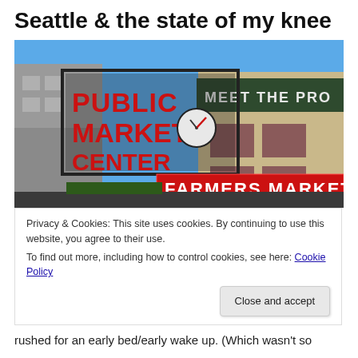Seattle & the state of my knee
[Figure (photo): Pike Place Public Market Center sign with FARMERS MARKET banner and Meet the Producer sign visible, blue sky background, Seattle]
Privacy & Cookies: This site uses cookies. By continuing to use this website, you agree to their use.
To find out more, including how to control cookies, see here: Cookie Policy
Close and accept
rushed for an early bed/early wake up. (Which wasn't so